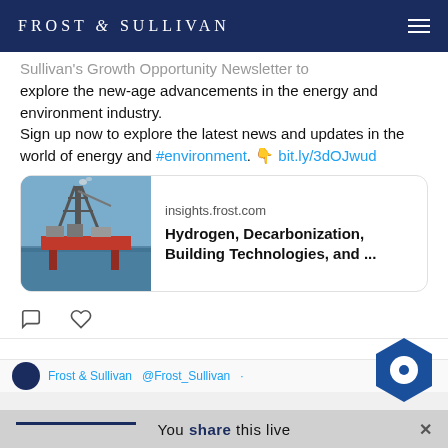FROST & SULLIVAN
explore the new-age advancements in the energy and environment industry.
Sign up now to explore the latest news and updates in the world of energy and #environment. 👇 bit.ly/3dOJwud
[Figure (screenshot): Link card showing an oil rig image with text: insights.frost.com — Hydrogen, Decarbonization, Building Technologies, and ...]
[Figure (other): Tweet interaction icons: comment and like (heart)]
You share this live